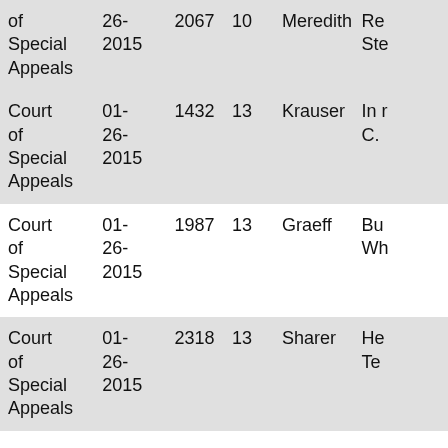| Court | Date | Case No. | Vol. | Judge | Case Name |
| --- | --- | --- | --- | --- | --- |
| Court of Special Appeals | 01-26-2015 | 2067 | 10 | Meredith | Re... Ste... |
| Court of Special Appeals | 01-26-2015 | 1432 | 13 | Krauser | In r... C. |
| Court of Special Appeals | 01-26-2015 | 1987 | 13 | Graeff | Bu... Wh... |
| Court of Special Appeals | 01-26-2015 | 2318 | 13 | Sharer | He... Te... |